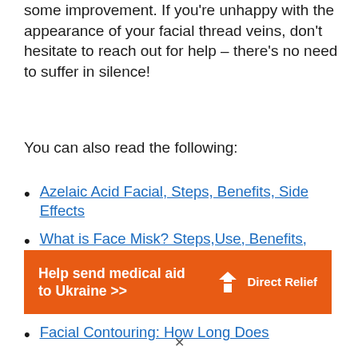some improvement. If you're unhappy with the appearance of your facial thread veins, don't hesitate to reach out for help – there's no need to suffer in silence!
You can also read the following:
Azelaic Acid Facial, Steps, Benefits, Side Effects
What is Face Misk? Steps,Use, Benefits, FAQs
Best Dermatologist Recommended Face Cleansing
Facial Contouring: How Long Does
[Figure (infographic): Orange advertisement banner for Direct Relief: 'Help send medical aid to Ukraine >>' with Direct Relief logo on the right.]